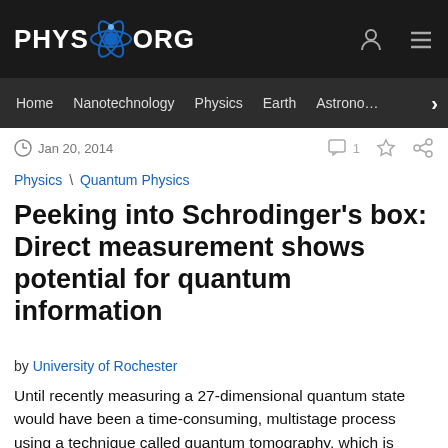PHYS.ORG
Home | Nanotechnology | Physics | Earth | Astronomy
Jan 20, 2014  |  1 comment
Physics \ Quantum Physics
Peeking into Schrodinger's box: Direct measurement shows potential for quantum information
by University of Rochester
Until recently measuring a 27-dimensional quantum state would have been a time-consuming, multistage process using a technique called quantum tomography, which is similar to creating a 3D image from many 2D ones. Researchers at the University of Rochester have been able to apply a recently developed, alternative method called direct measurement to do this in a single…